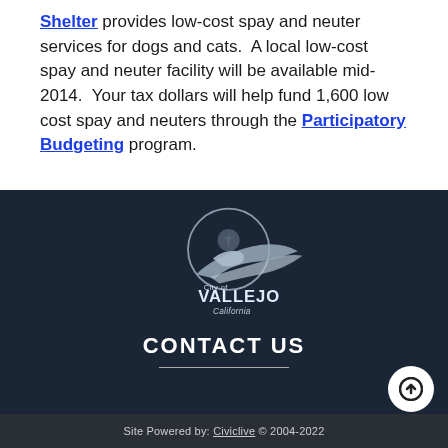Shelter provides low-cost spay and neuter services for dogs and cats. A local low-cost spay and neuter facility will be available mid-2014. Your tax dollars will help fund 1,600 low cost spay and neuters through the Participatory Budgeting program.
[Figure (logo): City of Vallejo California official logo — a bird in flight inside a circle, with text 'City of VALLEJO California' below]
CONTACT US
Site Powered by: Civiclive © 2004-2022